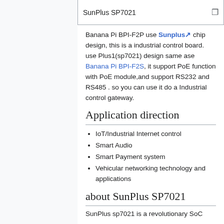SunPlus SP7021
Banana Pi BPI-F2P use Sunplus chip design, this is a industrial control board. use Plus1(sp7021) design same ase Banana Pi BPI-F2S, it support PoE function with PoE module,and support RS232 and RS485 . so you can use it do a Industrial control gateway.
Application direction
IoT/Industrial Internet control
Smart Audio
Smart Payment system
Vehicular networking technology and applications
about SunPlus SP7021
SunPlus sp7021 is a revolutionary SoC